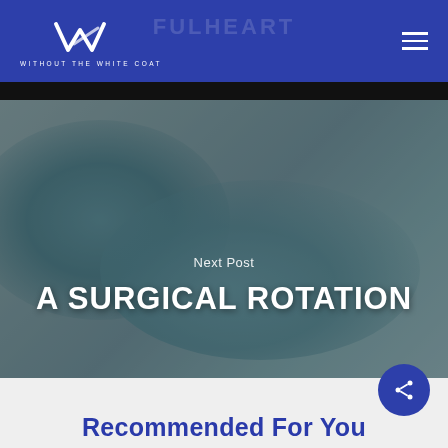WITHOUT THE WHITE COAT
[Figure (screenshot): Hero image showing hands wearing teal/blue surgical gloves against a grey background, with overlay text 'Next Post' and 'A SURGICAL ROTATION']
Next Post
A SURGICAL ROTATION
Recommended For You